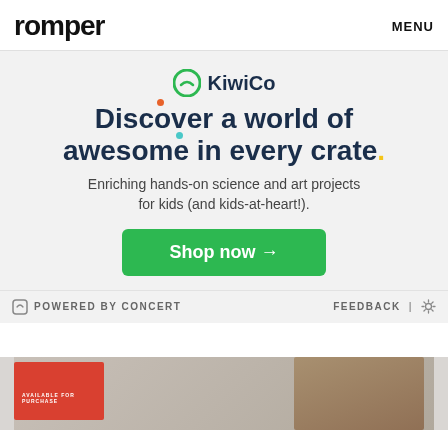romper  MENU
[Figure (infographic): KiwiCo advertisement with logo, headline 'Discover a world of awesome in every crate.', subtext about enriching hands-on science and art projects, and a green 'Shop now →' button]
POWERED BY CONCERT  FEEDBACK | [gear icon]
[Figure (photo): Partial photo showing red packaging and food items on a grey/neutral background, cropped at bottom of page]